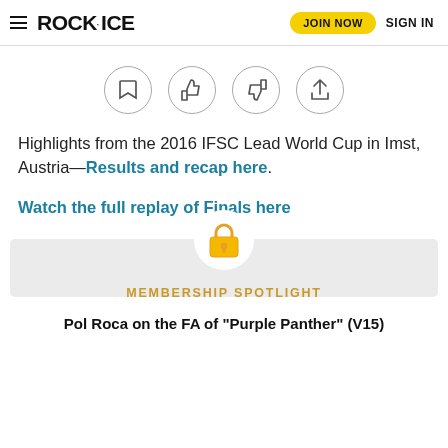ROCK·ICE | JOIN NOW | SIGN IN
[Figure (infographic): Four circular icon buttons: bookmark, thumbs up, thumbs down, share]
Highlights from the 2016 IFSC Lead World Cup in Imst, Austria—Results and recap here.
Watch the full replay of Finals here
[Figure (illustration): Gold padlock icon with a white circular background, sitting above a light grey membership spotlight box]
MEMBERSHIP SPOTLIGHT
Pol Roca on the FA of "Purple Panther" (V15)